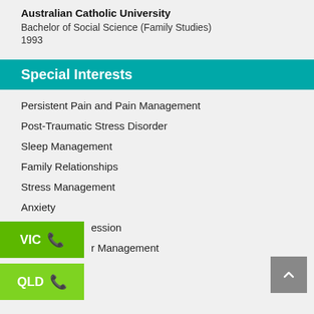Australian Catholic University
Bachelor of Social Science (Family Studies)
1993
Special Interests
Persistent Pain and Pain Management
Post-Traumatic Stress Disorder
Sleep Management
Family Relationships
Stress Management
Anxiety
Depression
Anger Management